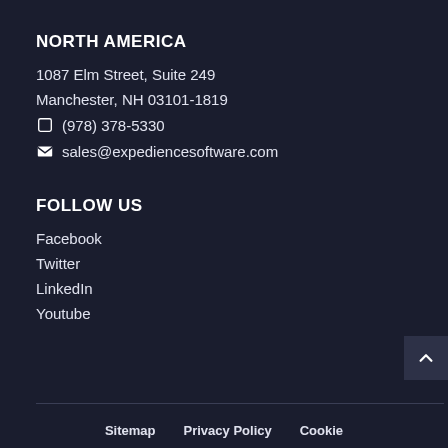NORTH AMERICA
1087 Elm Street, Suite 249
Manchester, NH 03101-1819
(978) 378-5330
sales@expediencesoftware.com
FOLLOW US
Facebook
Twitter
LinkedIn
Youtube
Sitemap   Privacy Policy   Cookie